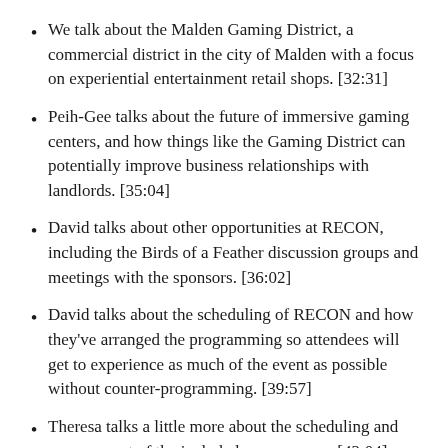We talk about the Malden Gaming District, a commercial district in the city of Malden with a focus on experiential entertainment retail shops. [32:31]
Peih-Gee talks about the future of immersive gaming centers, and how things like the Gaming District can potentially improve business relationships with landlords. [35:04]
David talks about other opportunities at RECON, including the Birds of a Feather discussion groups and meetings with the sponsors. [36:02]
David talks about the scheduling of RECON and how they've arranged the programming so attendees will get to experience as much of the event as possible without counter-programming. [39:57]
Theresa talks a little more about the scheduling and arrangement of the included escape room. [42:04]